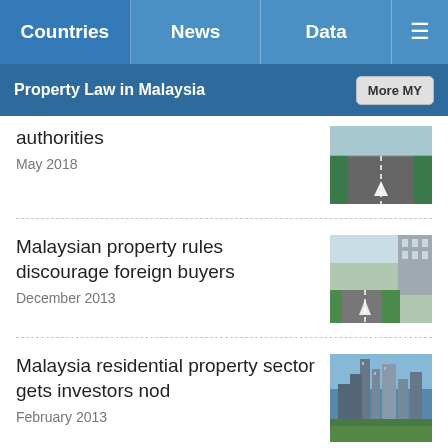Countries | News | Data | Menu
Property Law in Malaysia
authorities
May 2018
[Figure (photo): Road with arrow markings and trees]
Malaysian property rules discourage foreign buyers
December 2013
[Figure (photo): Row of terrace houses along a road with arrow markings]
Malaysia residential property sector gets investors nod
February 2013
[Figure (photo): Aerial view of Kuala Lumpur city skyline]
More News and Discussions »